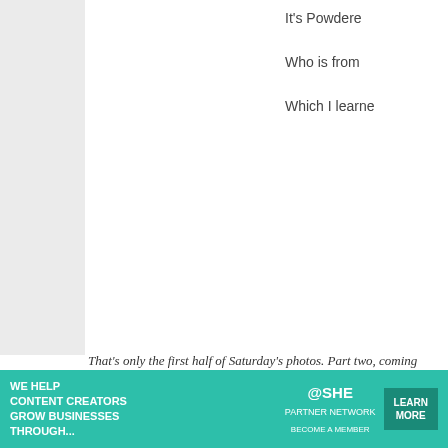It's Powdere
Who is from
Which I learne
That's only the first half of Saturday's photos. Part two, coming
more posts about conventions
[Figure (photo): Cosplay group photo at Dragon Con 2021]
Dragon Con 2021: The Funniest Cosplay You Missed
[Figure (photo): Glowing dragon lantern at night - Asian Lantern Festival]
My First Asian Lantern Festival: "Into The Wild"
[Figure (photo): Convention hall moments photo]
Moments Fr... Celebra...
[Figure (infographic): SHE Media Partner Network advertisement banner - We help content creators grow businesses through...]